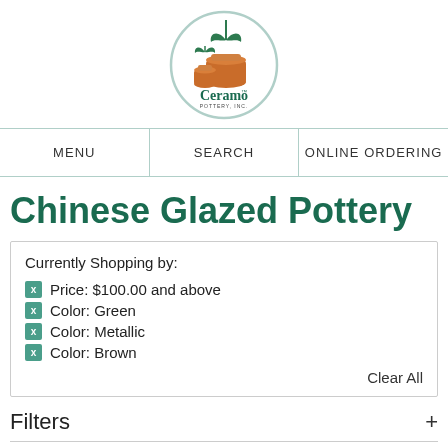[Figure (logo): Ceramo pottery logo — circular badge with terracotta pots and green leaf/plant icon, text reads 'Ceramo' in dark green with 'POTTERY, INC.' below]
MENU | SEARCH | ONLINE ORDERING
Chinese Glazed Pottery
Currently Shopping by:
Price: $100.00 and above
Color: Green
Color: Metallic
Color: Brown
Clear All
Filters +